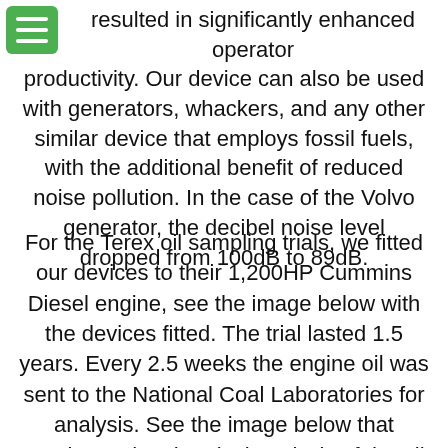menu icon (hamburger)
resulted in significantly enhanced operator productivity. Our device can also be used with generators, whackers, and any other similar device that employs fossil fuels, with the additional benefit of reduced noise pollution. In the case of the Volvo generator, the decibel noise level dropped from 100dB to 89dB.
For the Terex oil sampling trials, we fitted our devices to their 1,200HP Cummins Diesel engine, see the image below with the devices fitted. The trial lasted 1.5 years. Every 2.5 weeks the engine oil was sent to the National Coal Laboratories for analysis. See the image below that pertains to the chemical analysis of the oil. We've also successfully fitted to very 'thirsty' marine diesel engines, obtaining a 10% fuel saving. Our latest test rig is a Scania, 480hp